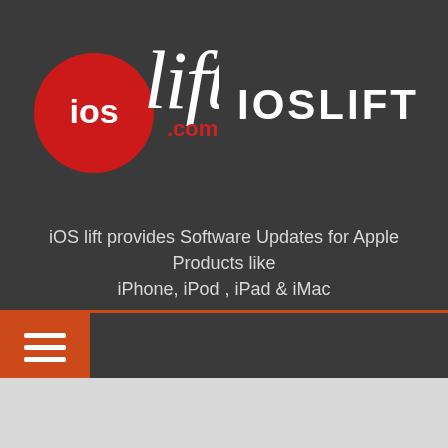[Figure (logo): ioslift.com logo — red circle with 'ios' text, white cursive 'lift' script, dark red '.com' text]
IOSLIFT
iOS lift provides Software Updates for Apple Products like iPhone, iPod , iPad & iMac
[Figure (infographic): Orange hamburger menu button (three horizontal white lines) on dark navigation bar]